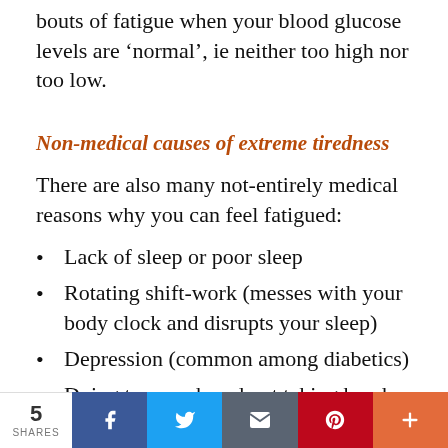bouts of fatigue when your blood glucose levels are 'normal', ie neither too high nor too low.
Non-medical causes of extreme tiredness
There are also many not-entirely medical reasons why you can feel fatigued:
Lack of sleep or poor sleep
Rotating shift-work (messes with your body clock and disrupts your sleep)
Depression (common among diabetics)
Doing too much and not taking breaks
Stress
5 SHARES | Facebook | Twitter | Email | Pinterest | More